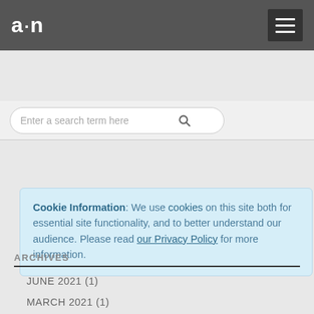a·n [logo] | hamburger menu
Enter a search term here [search button]
Cookie Information: We use cookies on this site both for essential site functionality, and to better understand our audience. Please read our Privacy Policy for more information.
🏠 BLOGS ▾ ARTIST ▾ 461 – T3
ARCHIVES
JUNE 2021 (1)
MARCH 2021 (1)
FEBRUARY 2021 (1)
DECEMBER 2020 (2)
SEPTEMBER 2020 (2)